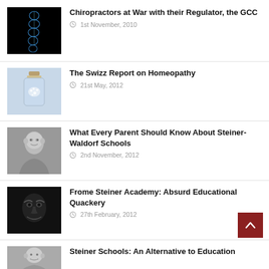Chiropractors at War with their Regulator, the GCC — 1st November, 2010
The Swizz Report on Homeopathy — 21st May, 2012
What Every Parent Should Know About Steiner-Waldorf Schools — 2nd November, 2012
Frome Steiner Academy: Absurd Educational Quackery — 27th February, 2012
Steiner Schools: An Alternative to Education